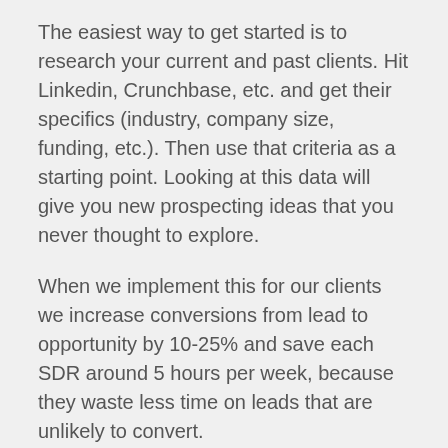The easiest way to get started is to research your current and past clients. Hit Linkedin, Crunchbase, etc. and get their specifics (industry, company size, funding, etc.). Then use that criteria as a starting point. Looking at this data will give you new prospecting ideas that you never thought to explore.
When we implement this for our clients we increase conversions from lead to opportunity by 10-25% and save each SDR around 5 hours per week, because they waste less time on leads that are unlikely to convert.
Mistake #3: Only loading names and email addresses into your CRM or marketing